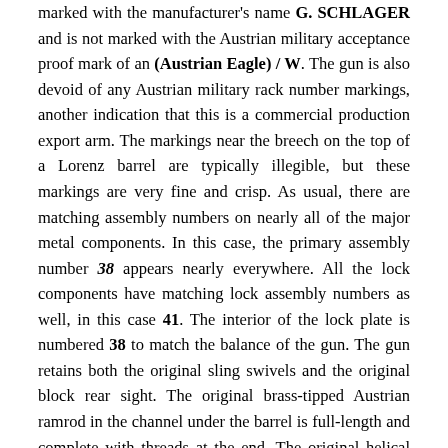marked with the manufacturer's name G. SCHLAGER and is not marked with the Austrian military acceptance proof mark of an (Austrian Eagle) / W. The gun is also devoid of any Austrian military rack number markings, another indication that this is a commercial production export arm. The markings near the breech on the top of a Lorenz barrel are typically illegible, but these markings are very fine and crisp. As usual, there are matching assembly numbers on nearly all of the major metal components. In this case, the primary assembly number 38 appears nearly everywhere. All the lock components have matching lock assembly numbers as well, in this case 41. The interior of the lock plate is numbered 38 to match the balance of the gun. The gun retains both the original sling swivels and the original block rear sight. The original brass-tipped Austrian ramrod in the channel under the barrel is full-length and complete with threads at the end. The original helical front sight / bayonet lug is in place as well.
The barrel and all the furniture and hardware are quite smooth, with only some very minute scattered areas of very minor pinpricking and light surface oxidation present. The lock shows some minor scattered pitting, but is otherwise smooth. The metals parts exhibit an attractive, untouched smoky gray patina, with